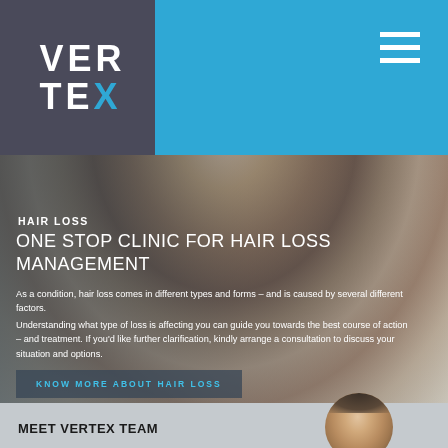[Figure (logo): VERTEX clinic logo with dark grey background and blue text]
[Figure (photo): Close-up photo of a man with hair loss, hands on top of his head, viewed from above]
HAIR LOSS
ONE STOP CLINIC FOR HAIR LOSS MANAGEMENT
As a condition, hair loss comes in different types and forms – and is caused by several different factors.
Understanding what type of loss is affecting you can guide you towards the best course of action – and treatment. If you'd like further clarification, kindly arrange a consultation to discuss your situation and options.
KNOW MORE ABOUT HAIR LOSS
MEET VERTEX TEAM
[Figure (photo): Portrait photo of a man, partially visible at bottom right]